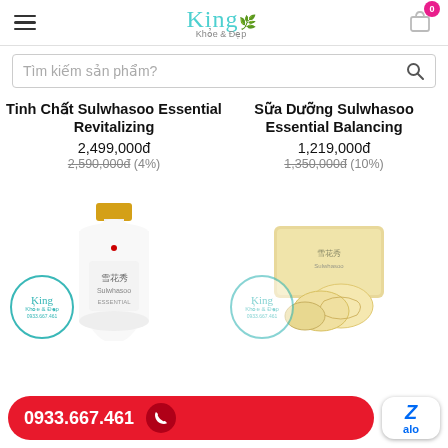King Khỏe & Đẹp - Navigation header with logo and cart
Tìm kiếm sản phẩm?
Tinh Chất Sulwhasoo Essential Revitalizing
2,499,000đ
2,590,000đ (4%)
Sữa Dưỡng Sulwhasoo Essential Balancing
1,219,000đ
1,350,000đ (10%)
[Figure (photo): Sulwhasoo Essential Revitalizing bottle with gold cap and white body]
[Figure (photo): Sulwhasoo Essential Balancing product box set with mask-like pads]
0933.667.461
Zalo